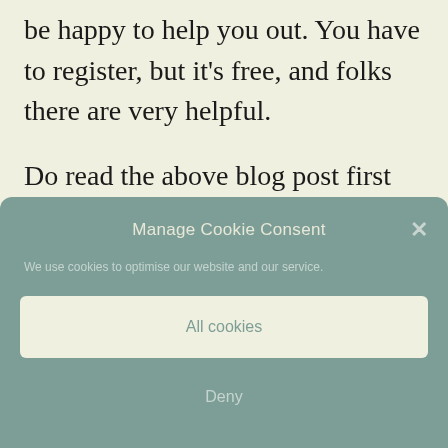be happy to help you out. You have to register, but it's free, and folks there are very helpful.
Do read the above blog post first though. It's possible that your children's names don't have legitimate Irish forms…many do not.
Manage Cookie Consent
We use cookies to optimise our website and our service.
All cookies
Deny